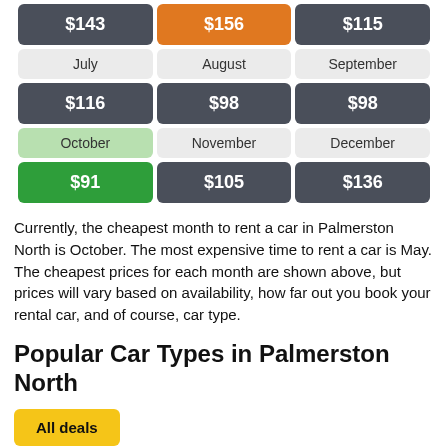| Col1 | Col2 | Col3 |
| --- | --- | --- |
| $143 | $156 | $115 |
| July | August | September |
| $116 | $98 | $98 |
| October | November | December |
| $91 | $105 | $136 |
Currently, the cheapest month to rent a car in Palmerston North is October. The most expensive time to rent a car is May. The cheapest prices for each month are shown above, but prices will vary based on availability, how far out you book your rental car, and of course, car type.
Popular Car Types in Palmerston North
All deals